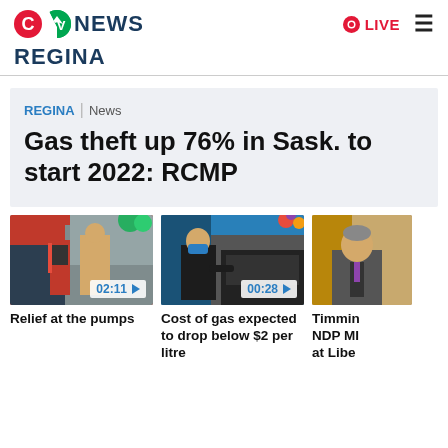[Figure (logo): CTV News logo with red C circle, green TV circle, and dark blue NEWS text]
LIVE
REGINA
Gas theft up 76% in Sask. to start 2022: RCMP
REGINA | News
[Figure (photo): Person at gas pump, video thumbnail, duration 02:11]
Relief at the pumps
[Figure (photo): Person wearing mask at gas pump, video thumbnail, duration 00:28]
Cost of gas expected to drop below $2 per litre
[Figure (photo): Partially visible person in suit, video thumbnail, clipped at right edge]
Timmin NDP MI at Libe